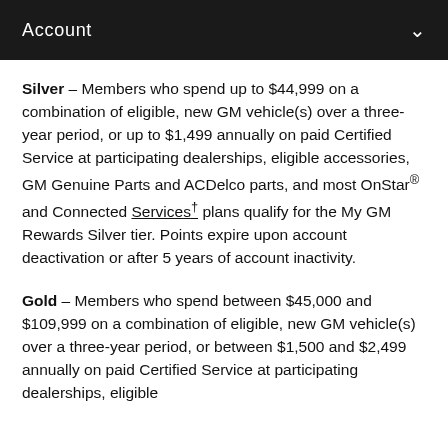Account
Silver – Members who spend up to $44,999 on a combination of eligible, new GM vehicle(s) over a three-year period, or up to $1,499 annually on paid Certified Service at participating dealerships, eligible accessories, GM Genuine Parts and ACDelco parts, and most OnStar® and Connected Services† plans qualify for the My GM Rewards Silver tier. Points expire upon account deactivation or after 5 years of account inactivity.
Gold – Members who spend between $45,000 and $109,999 on a combination of eligible, new GM vehicle(s) over a three-year period, or between $1,500 and $2,499 annually on paid Certified Service at participating dealerships, eligible